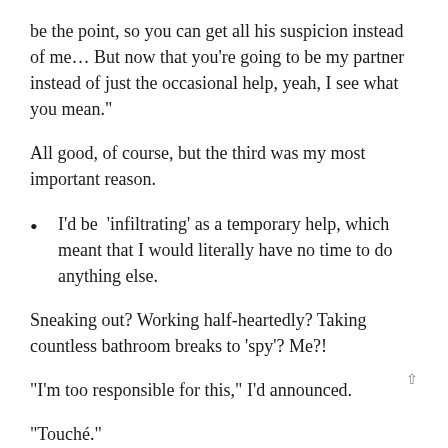be the point, so you can get all his suspicion instead of me… But now that you're going to be my partner instead of just the occasional help, yeah, I see what you mean."
All good, of course, but the third was my most important reason.
I'd be  'infiltrating' as a temporary help, which meant that I would literally have no time to do anything else.
Sneaking out? Working half-heartedly? Taking countless bathroom breaks to 'spy'? Me?!
"I'm too responsible for this," I'd announced.
"Touché."
And so I'd become an overseer instead, which Rosa still deemed necessary in case either of her, um, captives